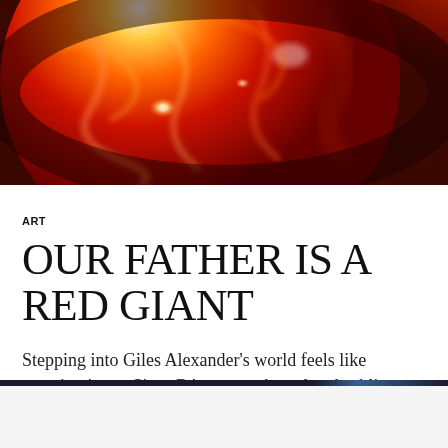[Figure (photo): Close-up photograph of the sun's surface showing fiery red and orange plasma with bright white flare regions, swirling solar activity against a deep red background]
ART
OUR FATHER IS A RED GIANT
Stepping into Giles Alexander's world feels like stepping into a Sigur Rós song, ethereal and sublime.